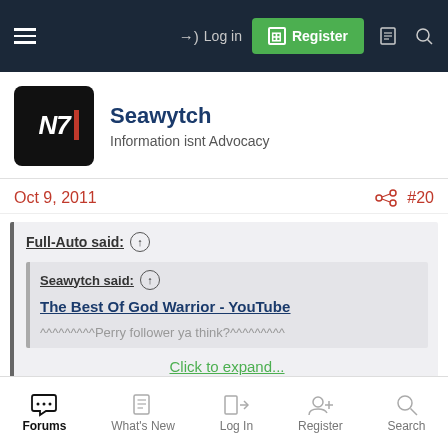Log in | Register
Seawytch
Information isnt Advocacy
Oct 9, 2011 #20
Full-Auto said: ↑ Seawytch said: ↑ The Best Of God Warrior - YouTube ^^^^^^^^^Perry follower ya think?^^^^^^^^ Click to expand...
Forums | What's New | Log In | Register | Search